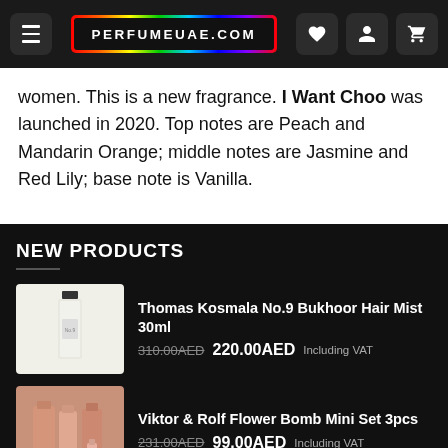PERFUMEUAE.COM
women. This is a new fragrance. I Want Choo was launched in 2020. Top notes are Peach and Mandarin Orange; middle notes are Jasmine and Red Lily; base note is Vanilla.
NEW PRODUCTS
Thomas Kosmala No.9 Bukhoor Hair Mist 30ml — 310.00AED  220.00AED Including VAT
Viktor & Rolf Flower Bomb Mini Set 3pcs — 231.00AED  99.00AED Including VAT
Perfume la Macho Cruise EDP 125ml